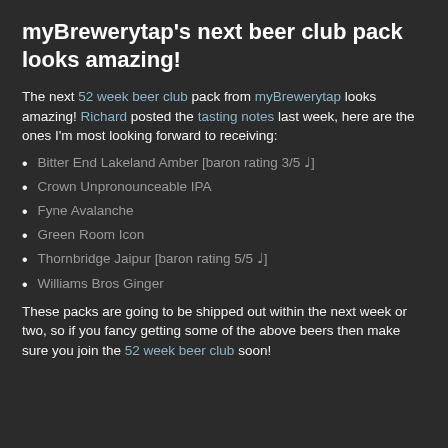myBrewerytap's next beer club pack looks amazing!
The next 52 week beer club pack from myBrewerytap looks amazing! Richard posted the tasting notes last week, here are the ones I'm most looking forward to receiving:
Bitter End Lakeland Amber [baron rating 3/5 ♩]
Crown Unpronounceable IPA
Fyne Avalanche
Green Room Icon
Thornbridge Jaipur [baron rating 5/5 ♩]
Williams Bros Ginger
These packs are going to be shipped out within the next week or two, so if you fancy getting some of the above beers then make sure you join the 52 week beer club soon!